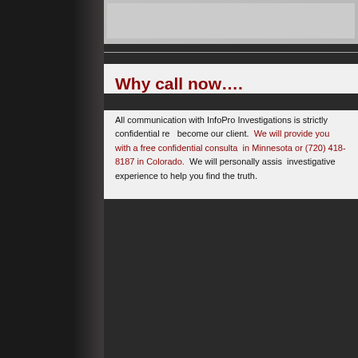[Figure (photo): Top gray banner image area, partially visible]
Why call now….
All communication with InfooPro Investigations is strictly confidential regardless of whether you become our client. We will provide you with a free confidential consultation in Minnesota or (720) 418-8187 in Colorado. We will personally assist you using our investigative experience to help you find the truth.
www.InGodWeTrustAllOthersWeInvestigate.co
Psalm 118:8
InfoPro Investigations, Inc., Minnesota & Colorado Private De